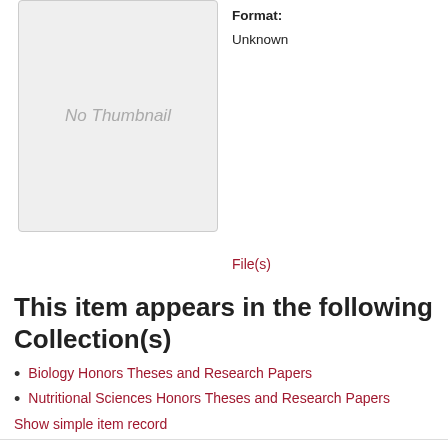[Figure (other): No Thumbnail placeholder image box with grey background]
Format:
Unknown
File(s)
This item appears in the following Collection(s)
Biology Honors Theses and Research Papers
Nutritional Sciences Honors Theses and Research Papers
Show simple item record